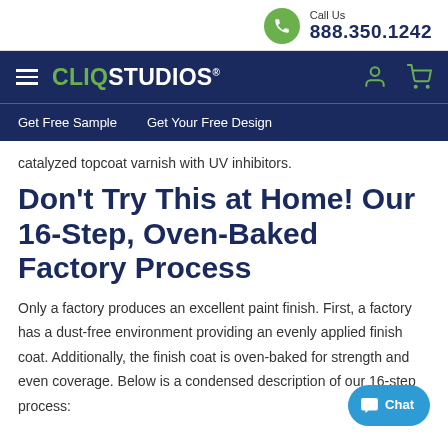Call Us 888.350.1242
CLIQSTUDIOS
Get Free Sample | Get Your Free Design
catalyzed topcoat varnish with UV inhibitors.
Don't Try This at Home! Our 16-Step, Oven-Baked Factory Process
Only a factory produces an excellent paint finish. First, a factory has a dust-free environment providing an evenly applied finish coat. Additionally, the finish coat is oven-baked for strength and even coverage. Below is a condensed description of our 16-step process: